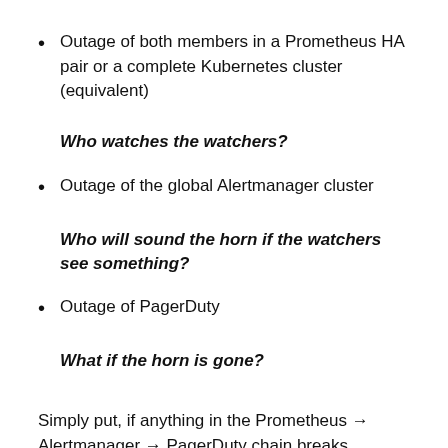Outage of both members in a Prometheus HA pair or a complete Kubernetes cluster (equivalent)
Who watches the watchers?
Outage of the global Alertmanager cluster
Who will sound the horn if the watchers see something?
Outage of PagerDuty
What if the horn is gone?
Simply put, if anything in the Prometheus → Alertmanager → PagerDuty chain breaks completely, we won't get notified. These global outages are rare,